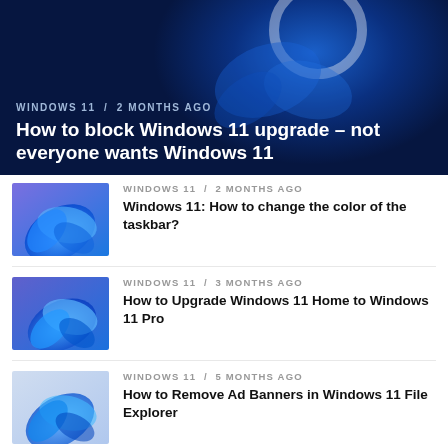[Figure (screenshot): Hero banner with blue Windows 11 abstract background and large title]
WINDOWS 11 / 2 months ago
How to block Windows 11 upgrade - not everyone wants Windows 11
[Figure (screenshot): Windows 11 blue floral abstract thumbnail]
WINDOWS 11 / 2 months ago
Windows 11: How to change the color of the taskbar?
[Figure (screenshot): Windows 11 blue floral abstract thumbnail]
WINDOWS 11 / 3 months ago
How to Upgrade Windows 11 Home to Windows 11 Pro
[Figure (screenshot): Windows 11 blue floral abstract thumbnail]
WINDOWS 11 / 5 months ago
How to Remove Ad Banners in Windows 11 File Explorer
[Figure (screenshot): Windows 11 blue floral abstract thumbnail]
WINDOWS 11 / 5 months ago
Download Official File ISO - Windows 11 Latest Build 22572...